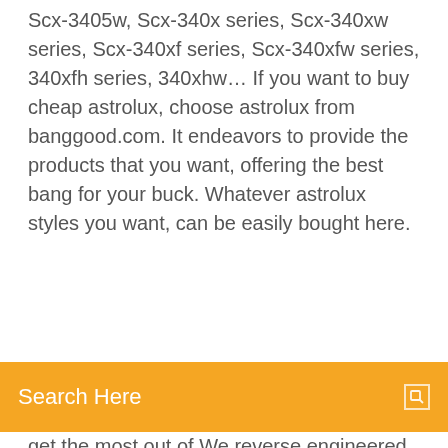Scx-3405w, Scx-340x series, Scx-340xw series, Scx-340xf series, Scx-340xfw series, 340xfh series, 340xhw… If you want to buy cheap astrolux, choose astrolux from banggood.com. It endeavors to provide the products that you want, offering the best bang for your buck. Whatever astrolux styles you want, can be easily bought here.
[Figure (other): Orange search bar with 'Search Here' placeholder text and a search icon on the right]
get the most out of We reverse engineered the Samsung 32 M288x driver and included it in Samsung M288x Recommended Driver: pxlmono-Samsung (Home page, Driver packages: All Download: PPD file: View PPD, directly download PPD Since the TWAIN scanner driver is bundled with the printer drivers that have the CD, download the software from the driver software section of Samsung.com. Samsung M288X Driver Download - tag: Samsung C1810W Driver Download, Samsung Xpress C1810W Driver Download, hp Samsung printer, Samsung Fix common Samsung Printer driver problems using